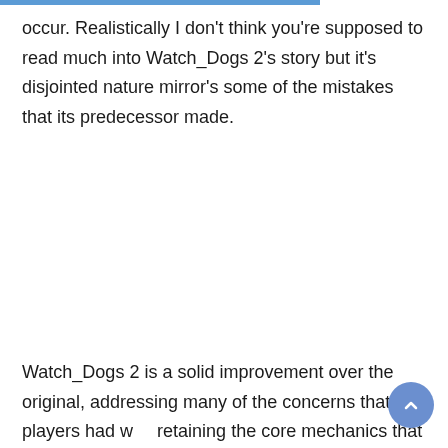occur. Realistically I don't think you're supposed to read much into Watch_Dogs 2's story but it's disjointed nature mirror's some of the mistakes that its predecessor made.
Watch_Dogs 2 is a solid improvement over the original, addressing many of the concerns that players had w… retaining the core mechanics that made it worth playing.